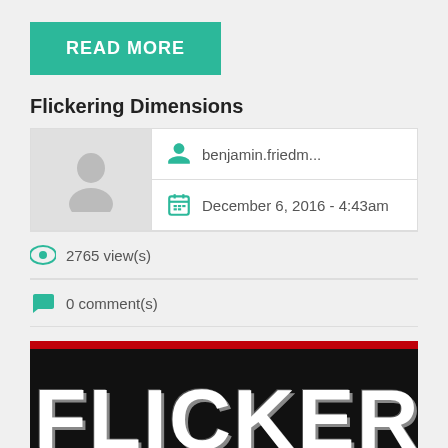READ MORE
Flickering Dimensions
benjamin.friedm...
December 6, 2016 - 4:43am
2765 view(s)
0 comment(s)
[Figure (photo): Book cover or promotional image showing large bold white text 'FLICKERING' on a black background with a dark red bar at the top]